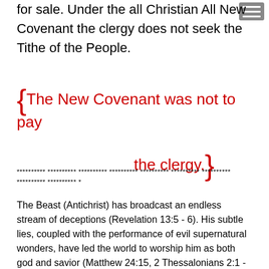for sale. Under the all Christian All New Covenant the clergy does not seek the Tithe of the People.
{The New Covenant was not to pay the clergy.}
********** ********** ********** ********** ********** ********** ********** ********** ********** *
The Beast (Antichrist) has broadcast an endless stream of deceptions (Revelation 13:5 - 6). His subtle lies, coupled with the performance of evil supernatural wonders, have led the world to worship him as both god and savior (Matthew 24:15, 2 Thessalonians 2:1 - 4). But the John 3:16 people are in the work